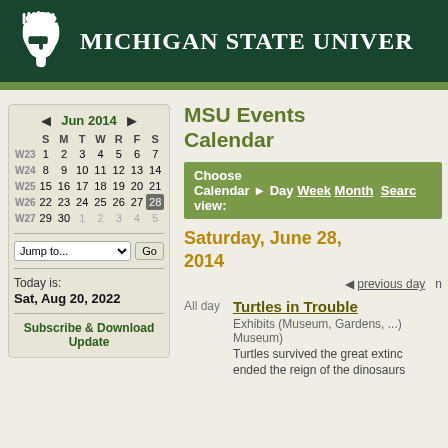MICHIGAN STATE UNIVERSITY
[Figure (screenshot): Michigan State University website screenshot showing MSU Events Calendar for Saturday, June 28, 2014, with a mini calendar widget showing June 2014, navigation options, and an event listing for 'Turtles in Trouble']
MSU Events Calendar
Choose Calendar ▶ Day Week Month Search view:
Saturday, June 28, 2014
◀ previous day  n
All day
Turtles in Trouble
Exhibits (Museum, Gardens, ...) Museum)
Turtles survived the great extinction that ended the reign of the dinosaurs
Today is: Sat, Aug 20, 2022
Subscribe & Download Update